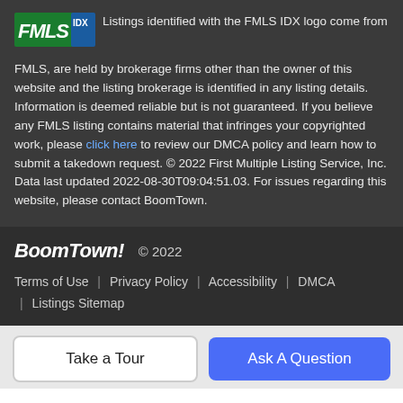Listings identified with the FMLS IDX logo come from FMLS, are held by brokerage firms other than the owner of this website and the listing brokerage is identified in any listing details. Information is deemed reliable but is not guaranteed. If you believe any FMLS listing contains material that infringes your copyrighted work, please click here to review our DMCA policy and learn how to submit a takedown request. © 2022 First Multiple Listing Service, Inc. Data last updated 2022-08-30T09:04:51.03. For issues regarding this website, please contact BoomTown.
BoomTown! © 2022 | Terms of Use | Privacy Policy | Accessibility | DMCA | Listings Sitemap
Take a Tour
Ask A Question